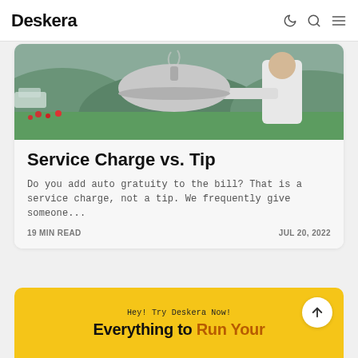Deskera
[Figure (photo): A waiter in white uniform holding a silver cloche/dome cover over a table, with a garden background with red flowers and parked vehicles]
Service Charge vs. Tip
Do you add auto gratuity to the bill? That is a service charge, not a tip. We frequently give someone...
19 MIN READ   JUL 20, 2022
Hey! Try Deskera Now!
Everything to Run Your